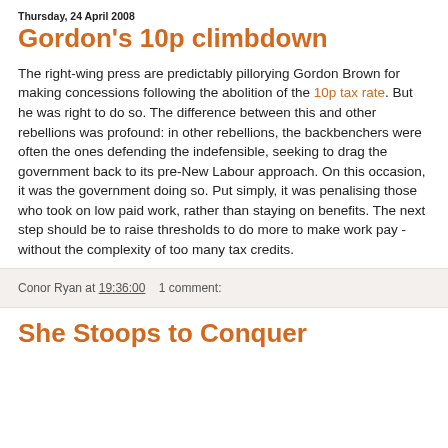Thursday, 24 April 2008
Gordon's 10p climbdown
The right-wing press are predictably pillorying Gordon Brown for making concessions following the abolition of the 10p tax rate. But he was right to do so. The difference between this and other rebellions was profound: in other rebellions, the backbenchers were often the ones defending the indefensible, seeking to drag the government back to its pre-New Labour approach. On this occasion, it was the government doing so. Put simply, it was penalising those who took on low paid work, rather than staying on benefits. The next step should be to raise thresholds to do more to make work pay - without the complexity of too many tax credits.
Conor Ryan at 19:36:00   1 comment:
She Stoops to Conquer